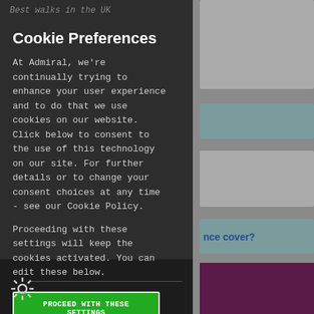Cookie Preferences
At Admiral, we're continually trying to enhance your user experience and to do that we use cookies on our website. Click below to consent to the use of this technology on our site. For further details or to change your consent choices at any time - see our Cookie Policy.
Proceeding with these settings will keep the cookies activated. You can edit these below.
PROCEED WITH THESE SETTINGS
nce cover?